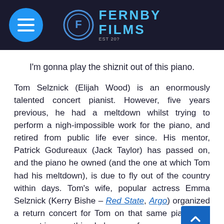Fernby Films
I'm gonna play the shiznit out of this piano.
Tom Selznick (Elijah Wood) is an enormously talented concert pianist. However, five years previous, he had a meltdown whilst trying to perform a nigh-impossible work for the piano, and retired from public life ever since. His mentor, Patrick Godureaux (Jack Taylor) has passed on, and the piano he owned (and the one at which Tom had his meltdown), is due to fly out of the country within days. Tom's wife, popular actress Emma Selznick (Kerry Bishe – Red State, Argo) organized a return concert for Tom on that same piano; the concert is something he's wary of,